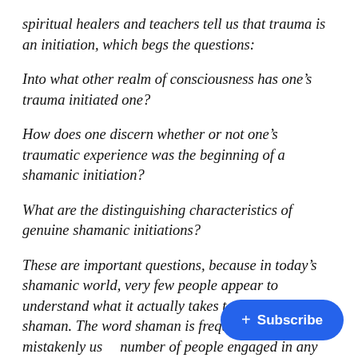spiritual healers and teachers tell us that trauma is an initiation, which begs the questions:
Into what other realm of consciousness has one's trauma initiated one?
How does one discern whether or not one's traumatic experience was the beginning of a shamanic initiation?
What are the distinguishing characteristics of genuine shamanic initiations?
These are important questions, because in today's shamanic world, very few people appear to understand what it actually takes to become a shaman. The word shaman is frequently and mistakenly us[ed to describe a large] number of people engaged in any num[ber of spiritual] practices, when in fact, very few of them are actually